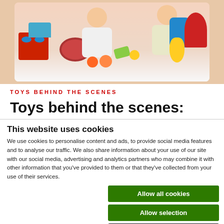[Figure (photo): Two toddlers playing with colorful toy food, kitchen toys, and plastic vegetables on a white surface. Various toy items including a red toy stove, baskets, and plastic fruits are visible.]
TOYS BEHIND THE SCENES
Toys behind the scenes:
This website uses cookies
We use cookies to personalise content and ads, to provide social media features and to analyse our traffic. We also share information about your use of our site with our social media, advertising and analytics partners who may combine it with other information that you've provided to them or that they've collected from your use of their services.
Allow all cookies
Allow selection
Use necessary cookies only
Necessary  Preferences  Statistics  Marketing  Show details